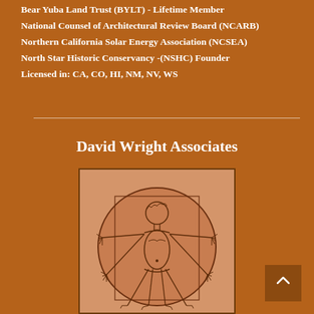Bear Yuba Land Trust (BYLT) - Lifetime Member
National Counsel of Architectural Review Board (NCARB)
Northern California Solar Energy Association (NCSEA)
North Star Historic Conservancy - (NSHC) Founder
Licensed in: CA, CO, HI, NM, NV, WS
David Wright Associates
[Figure (illustration): Vitruvian Man illustration — a human figure with arms and legs outstretched inscribed in a circle, drawn in a style reminiscent of Leonardo da Vinci's famous diagram, rendered in brown tones on a tan/peach background inside a square border.]